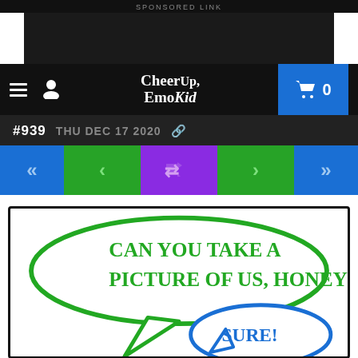SPONSORED LINK
[Figure (screenshot): Dark advertisement placeholder box]
CheerUp, EmoKid — navigation bar with hamburger menu, user icon, logo, and cart button showing 0
#939  THU DEC 17 2020
[Figure (illustration): Comic navigation controls: first (<<), previous (<), random (shuffle), next (>), last (>>) buttons in blue, green, purple, green, blue]
[Figure (illustration): Comic panel showing speech bubbles: green bubble says 'CAN YOU TAKE A PICTURE OF US, HONEY?' and blue bubble replies 'SURE!']